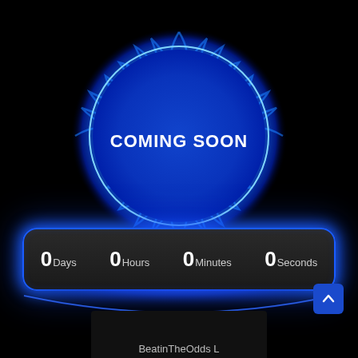[Figure (illustration): A glowing blue circle with flame/energy effects surrounding it on a black background, with white bold text 'COMING SOON' in the center]
0Days  0Hours  0Minutes  0Seconds
[Figure (other): Blue glowing shelf/arc light effect below the countdown bar]
BeatinTheOdds L